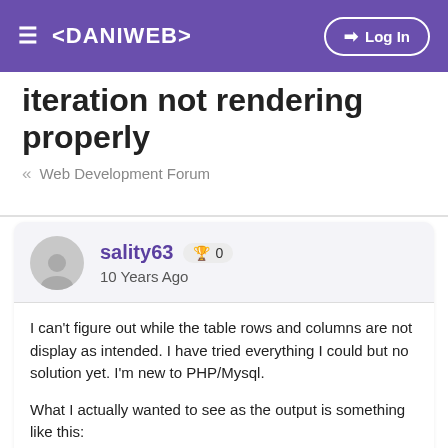≡ <DANIWEB>   → Log In
Iteration not rendering properly
« Web Development Forum
sality63 🏆 0
10 Years Ago
I can't figure out while the table rows and columns are not display as intended. I have tried everything I could but no solution yet. I'm new to PHP/Mysql.

What I actually wanted to see as the output is something like this:
[B]$days_of_week_rows['week_day'][/B]
$period_rows['period']   $class_rows['class']